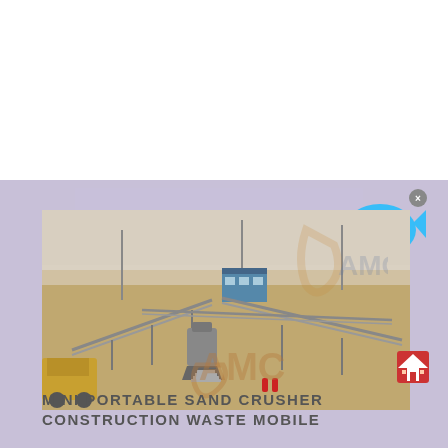[Figure (photo): Aerial/overhead view of a large industrial sand crusher and conveyor belt system at a construction site in an open field. Multiple conveyor belts and support structures visible, along with a blue control room building and construction equipment.]
[Figure (logo): AMC brand logo - orange/gold letter C with 'AMC' text, watermarked over the photo]
[Figure (infographic): Live Chat bubble icon in cyan/blue with 'Live Chat' text and a close X button]
[Figure (illustration): Small red house/building icon in bottom right corner]
MINI PORTABLE SAND CRUSHER CONSTRUCTION WASTE MOBILE